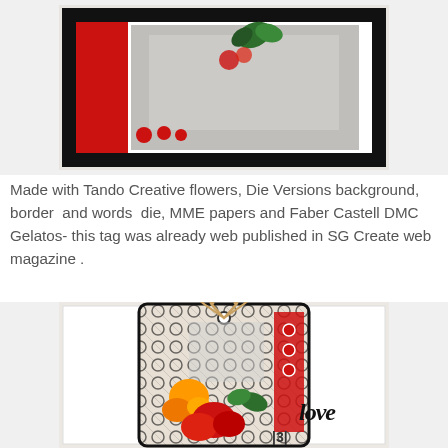[Figure (photo): Craft project photo showing a decorated tag/card with black geometric patterned border, red accents, grey inner panel, red berries, and green leaves on top.]
Made with Tando Creative flowers, Die Versions background, border  and words  die, MME papers and Faber Castell DMC Gelatos- this tag was already web published in SG Create web magazine .
[Figure (photo): Craft tag project photo showing a layered tag with black geometric pattern, red and chevron patterned papers, orange and red flowers, green leaves, twine bow at top, 'love' text embellishment, and number 3 at bottom.]